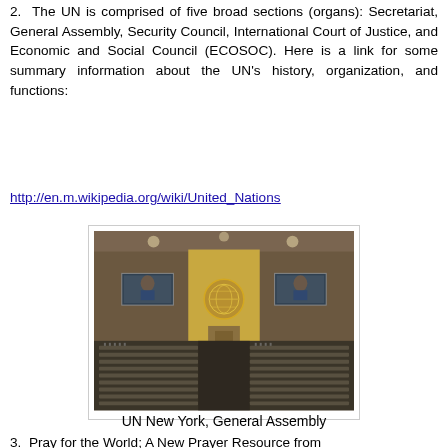2.  The UN is comprised of five broad sections (organs): Secretariat, General Assembly, Security Council, International Court of Justice, and Economic and Social Council (ECOSOC). Here is a link for some summary information about the UN's history, organization, and functions:
http://en.m.wikipedia.org/wiki/United_Nations
[Figure (photo): Interior of the UN General Assembly hall in New York, showing rows of delegate seats, two large video screens on either side of the podium area, and the UN emblem on the front wall. The hall is filled with delegates.]
UN New York, General Assembly
3.  Pray for the World; A New Prayer Resource from